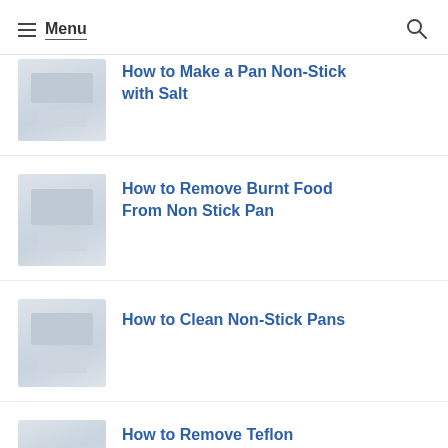Menu
How to Make a Pan Non-Stick with Salt
How to Remove Burnt Food From Non Stick Pan
How to Clean Non-Stick Pans
How to Remove Teflon Coating